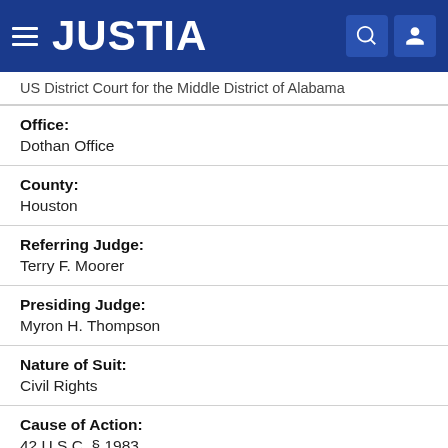JUSTIA
US District Court for the Middle District of Alabama
Office:
Dothan Office
County:
Houston
Referring Judge:
Terry F. Moorer
Presiding Judge:
Myron H. Thompson
Nature of Suit:
Civil Rights
Cause of Action:
42 U.S.C. § 1983